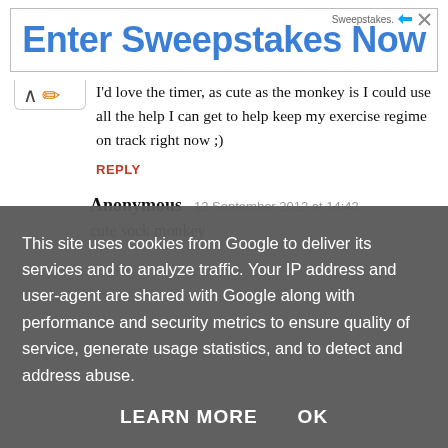[Figure (screenshot): Advertisement banner with text 'Enter Sweepstakes Now' in blue, with 'Sweepstakes.' branding and close/arrow icons in top right corner]
I'd love the timer, as cute as the monkey is I could use all the help I can get to help keep my exercise regime on track right now ;)
REPLY
Anonymous  12 September 2012 at 14:43
cute sock monkey
This site uses cookies from Google to deliver its services and to analyze traffic. Your IP address and user-agent are shared with Google along with performance and security metrics to ensure quality of service, generate usage statistics, and to detect and address abuse.
LEARN MORE   OK